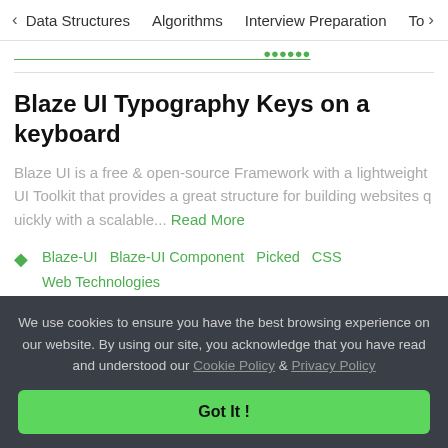< Data Structures   Algorithms   Interview Preparation   To>
[partial green link text visible at top]
Blaze UI Typography Keys on a keyboard
Blaze UI is a free & open-source Framework with a lightweight UI Toolkit that provides a great structure for building websites quickly with a scalable... Read More
Blaze-UI   Blaze-UI Component   Picked   CSS   Web Technologies
We use cookies to ensure you have the best browsing experience on our website. By using our site, you acknowledge that you have read and understood our Cookie Policy & Privacy Policy
Got It !